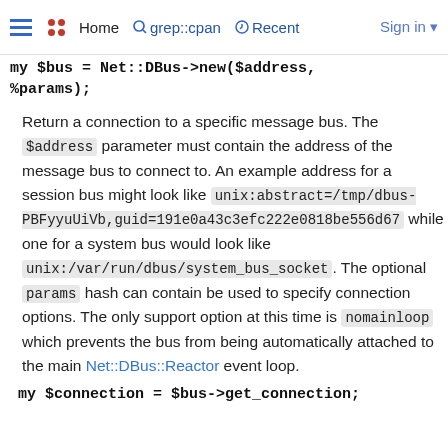Home | grep::cpan | Recent | Sign in
my $bus = Net::DBus->new($address, %params);
Return a connection to a specific message bus. The $address parameter must contain the address of the message bus to connect to. An example address for a session bus might look like unix:abstract=/tmp/dbus-PBFyyuUiVb,guid=191e0a43c3efc222e0818be556d67 while one for a system bus would look like unix:/var/run/dbus/system_bus_socket. The optional params hash can contain be used to specify connection options. The only support option at this time is nomainloop which prevents the bus from being automatically attached to the main Net::DBus::Reactor event loop.
my $connection = $bus->get_connection;